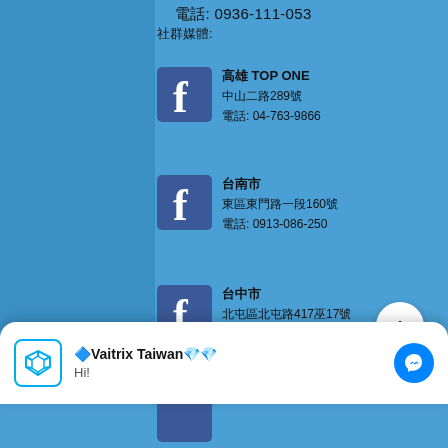電話: 0936-111-053
社群媒體:
高雄 TOP ONE
中山二路289號
電話: 04-763-9866
台南市
東區東門路一段160號
電話: 0913-086-250
台中市
北屯區北屯路417巷17號
電話: 0988-869-993
粉絲 MTM / MAYA 粉絲團
🔷Vaitrix Taiwan💎💎
Hi!